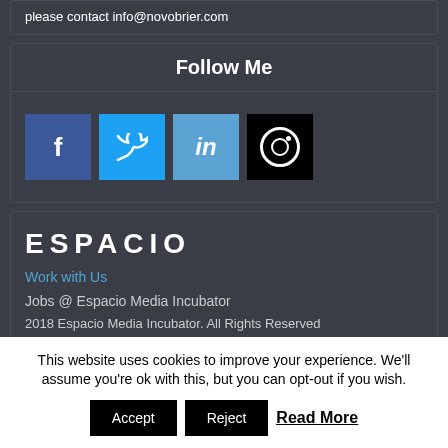please contact info@novobrier.com
Follow Me
[Figure (other): Social media icons: Facebook (blue), Twitter (light blue), LinkedIn (blue), Instagram (black)]
[Figure (logo): ESPACIO logo in white bold uppercase letters]
Work with Us
Jobs @ Espacio Media Incubator
2018 Espacio Media Incubator. All Rights Reserved
This website uses cookies to improve your experience. We'll assume you're ok with this, but you can opt-out if you wish.
Accept  Reject  Read More